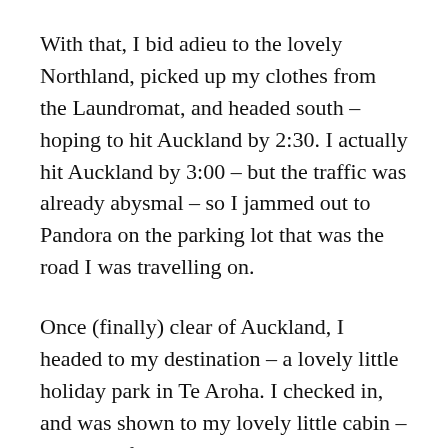With that, I bid adieu to the lovely Northland, picked up my clothes from the Laundromat, and headed south – hoping to hit Auckland by 2:30. I actually hit Auckland by 3:00 – but the traffic was already abysmal – so I jammed out to Pandora on the parking lot that was the road I was travelling on.
Once (finally) clear of Auckland, I headed to my destination – a lovely little holiday park in Te Aroha. I checked in, and was shown to my lovely little cabin – and thankfully arrived in time to take advantage of the nice spa pool in the park – just what I needed after the LONG drive I had. It was a crystal clear night – and I loved just looking at the stars while I relaxed.